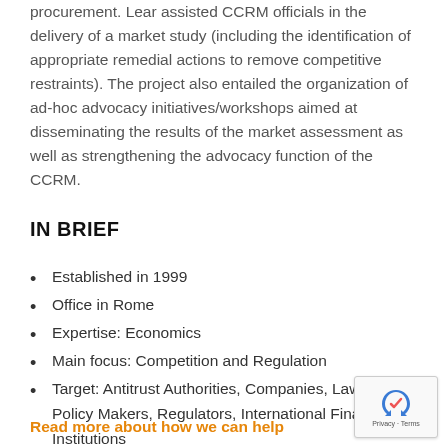procurement. Lear assisted CCRM officials in the delivery of a market study (including the identification of appropriate remedial actions to remove competitive restraints). The project also entailed the organization of ad-hoc advocacy initiatives/workshops aimed at disseminating the results of the market assessment as well as strengthening the advocacy function of the CCRM.
IN BRIEF
Established in 1999
Office in Rome
Expertise: Economics
Main focus: Competition and Regulation
Target: Antitrust Authorities, Companies, Law Firms, Policy Makers, Regulators, International Financial Institutions
Read more about how we can help